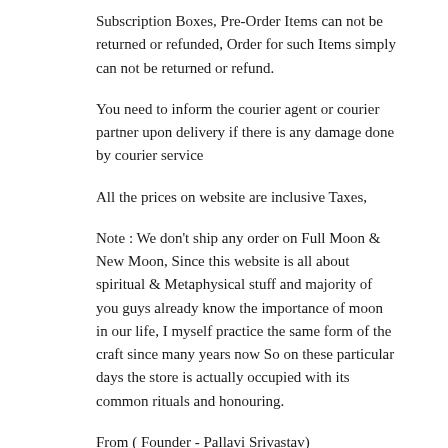Subscription Boxes, Pre-Order Items can not be returned or refunded, Order for such Items simply can not be returned or refund.
You need to inform the courier agent or courier partner upon delivery if there is any damage done by courier service
All the prices on website are inclusive Taxes,
Note : We don't ship any order on Full Moon & New Moon, Since this website is all about spiritual & Metaphysical stuff and majority of you guys already know the importance of moon in our life, I myself practice the same form of the craft since many years now So on these particular days the store is actually occupied with its common rituals and honouring.
From ( Founder - Pallavi Srivastav)
Declaration. Dear Shopper please expect some delay in orders due to Covid Situation in our country rest assured will take care of you all possible needs.